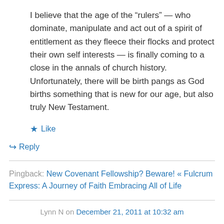I believe that the age of the “rulers” — who dominate, manipulate and act out of a spirit of entitlement as they fleece their flocks and protect their own self interests — is finally coming to a close in the annals of church history. Unfortunately, there will be birth pangs as God births something that is new for our age, but also truly New Testament.
★ Like
↪ Reply
Pingback: New Covenant Fellowship? Beware! « Fulcrum Express: A Journey of Faith Embracing All of Life
Lynn N on December 21, 2011 at 10:32 am